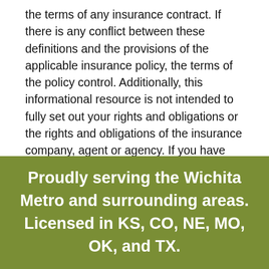the terms of any insurance contract. If there is any conflict between these definitions and the provisions of the applicable insurance policy, the terms of the policy control. Additionally, this informational resource is not intended to fully set out your rights and obligations or the rights and obligations of the insurance company, agent or agency. If you have questions about your insurance, you should contact your insurance agent, the insurance company, or the language of the insurance policy.
Proudly serving the Wichita Metro and surrounding areas. Licensed in KS, CO, NE, MO, OK, and TX.